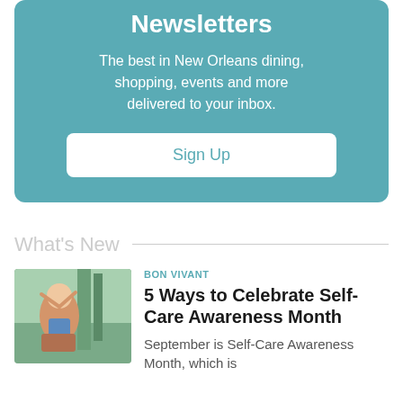Newsletters
The best in New Orleans dining, shopping, events and more delivered to your inbox.
Sign Up
What's New
[Figure (photo): Woman outdoors with arms raised joyfully, trees in background]
BON VIVANT
5 Ways to Celebrate Self-Care Awareness Month
September is Self-Care Awareness Month, which is